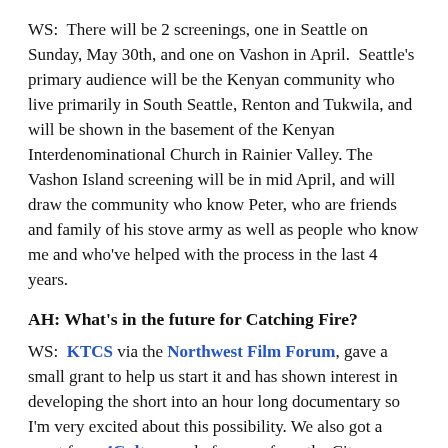WS:  There will be 2 screenings, one in Seattle on Sunday, May 30th, and one on Vashon in April.  Seattle's primary audience will be the Kenyan community who live primarily in South Seattle, Renton and Tukwila, and will be shown in the basement of the Kenyan Interdenominational Church in Rainier Valley. The Vashon Island screening will be in mid April, and will draw the community who know Peter, who are friends and family of his stove army as well as people who know me and who've helped with the process in the last 4 years.
AH: What's in the future for Catching Fire?
WS:  KTCS via the Northwest Film Forum, gave a small grant to help us start it and has shown interest in developing the short into an hour long documentary so I'm very excited about this possibility. We also got a grant from 4Culture and of course from the City.
AH: Congrats on your grant, and thank you for talking with me!
WS: Thank you — this could not have happened without the